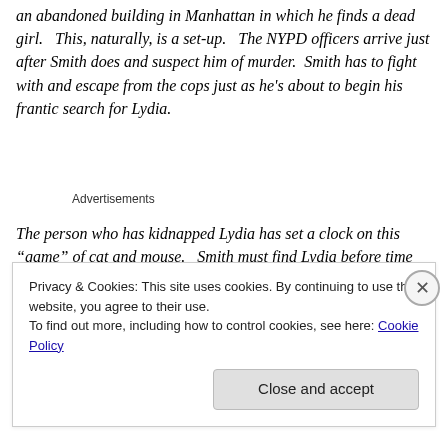an abandoned building in Manhattan in which he finds a dead girl.  This, naturally, is a set-up.  The NYPD officers arrive just after Smith does and suspect him of murder.  Smith has to fight with and escape from the cops just as he's about to begin his frantic search for Lydia.
Advertisements
The person who has kidnapped Lydia has set a clock on this “game” of cat and mouse.  Smith must find Lydia before time runs out, because her kidnapper has promised
Privacy & Cookies: This site uses cookies. By continuing to use this website, you agree to their use.
To find out more, including how to control cookies, see here: Cookie Policy
Close and accept